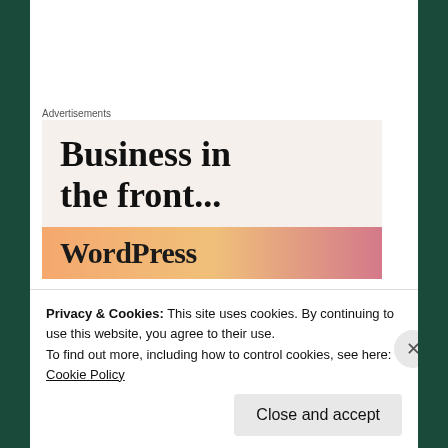Advertisements
[Figure (illustration): Advertisement banner with text 'Business in the front...' on light beige background, with an orange-pink gradient banner below showing 'WordPress']
Here is the video of the painting process. Watch out for the paint lifting with a solvent wet brush –
Privacy & Cookies: This site uses cookies. By continuing to use this website, you agree to their use.
To find out more, including how to control cookies, see here: Cookie Policy
Close and accept